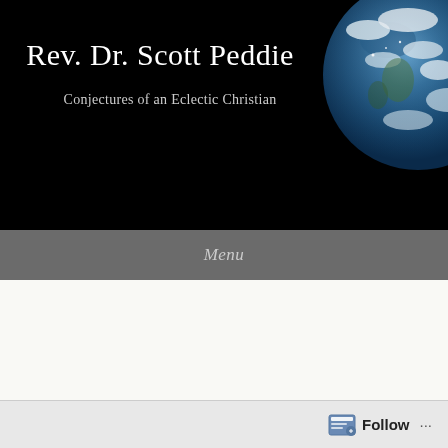Rev. Dr. Scott Peddie
Conjectures of an Eclectic Christian
[Figure (photo): Photograph of Earth from space showing blue and white globe against black background, positioned in upper right corner of the header banner.]
Menu
The Lure of Lucid Dreaming
Posted on June 1, 2012 by christianconjectures
Follow ...